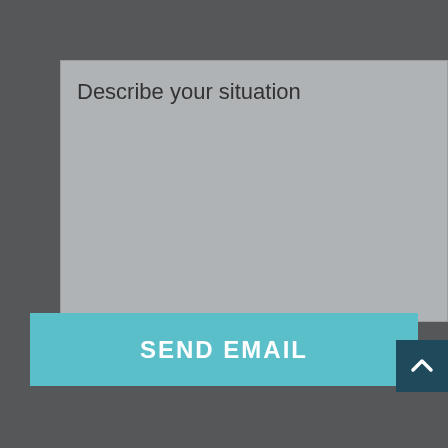[Figure (screenshot): A text area input field with gray background and placeholder text 'Describe your situation']
SEND EMAIL
[Figure (other): Scroll-to-top button with upward chevron arrow, dark teal background]